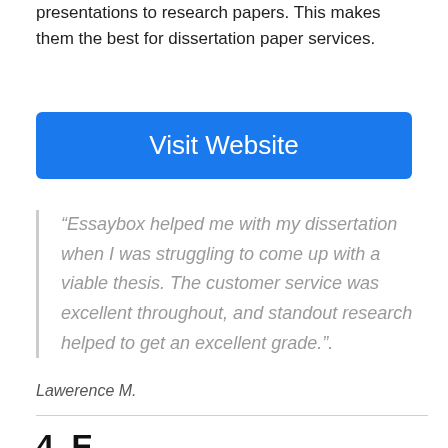presentations to research papers. This makes them the best for dissertation paper services.
Visit Website
“Essaybox helped me with my dissertation when I was struggling to come up with a viable thesis. The customer service was excellent throughout, and standout research helped to get an excellent grade.”.
Lawerence M.